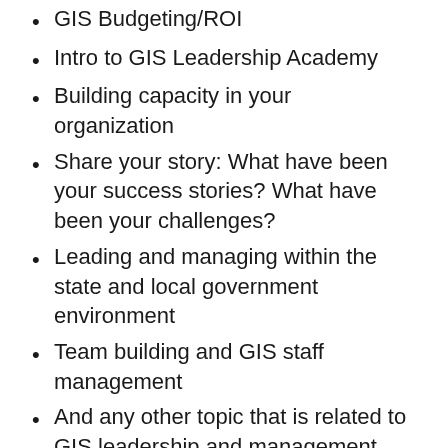GIS Budgeting/ROI
Intro to GIS Leadership Academy
Building capacity in your organization
Share your story: What have been your success stories? What have been your challenges?
Leading and managing within the state and local government environment
Team building and GIS staff management
And any other topic that is related to GIS leadership and management
GISP Exam Fundamentals: What you should know as a Professional
This track will explore the knowledge areas